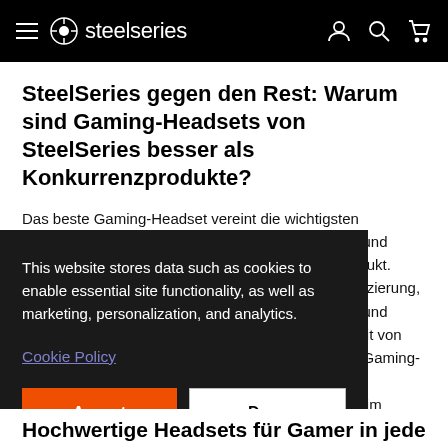steelseries — navigation bar with hamburger menu, logo, account, search, and cart icons
SteelSeries gegen den Rest: Warum sind Gaming-Headsets von SteelSeries besser als Konkurrenzprodukte?
Das beste Gaming-Headset vereint die wichtigsten – und ... odukt. ... duzierung, ... e und ... eit von ... e Gaming- ... n ... ts im
This website stores data such as cookies to enable essential site functionality, as well as marketing, personalization, and analytics.
Cookie Policy
Accept
Deny
Hochwertige Headsets für Gamer in jeder